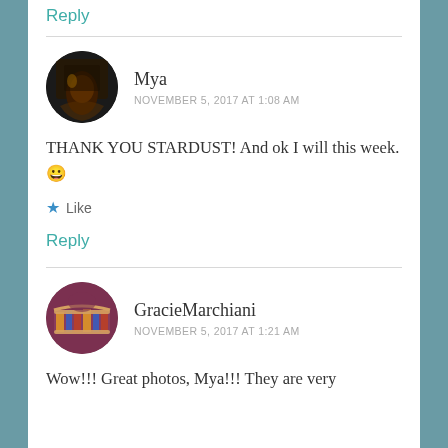Reply
Mya
NOVEMBER 5, 2017 AT 1:08 AM
[Figure (photo): Circular avatar photo of user Mya, dark image]
THANK YOU STARDUST! And ok I will this week. 😁
★ Like
Reply
GracieMarchiani
NOVEMBER 5, 2017 AT 1:21 AM
[Figure (photo): Circular avatar photo of user GracieMarchiani, colorful bracelet/fabric image]
Wow!!! Great photos, Mya!!! They are very